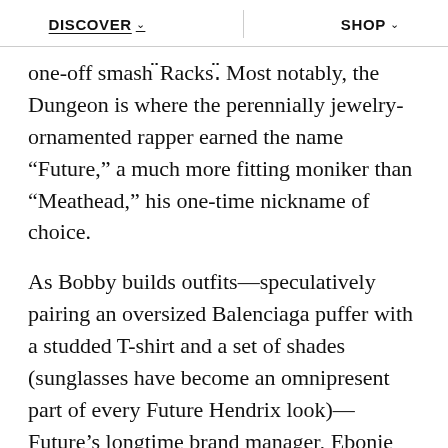DISCOVER   SHOP
one-off smash "Racks." Most notably, the Dungeon is where the perennially jewelry-ornamented rapper earned the name “Future,” a much more fitting moniker than “Meathead,” his one-time nickname of choice.
As Bobby builds outfits—speculatively pairing an oversized Balenciaga puffer with a studded T-shirt and a set of shades (sunglasses have become an omnipresent part of every Future Hendrix look)—Future’s longtime brand manager, Ebonie Ward, pre-screens questions, deftly rejecting any that hold even the slightest danger of being taken out of context. “Don’t worry he’s